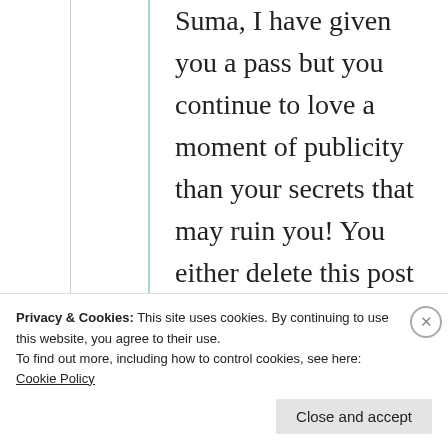Suma, I have given you a pass but you continue to love a moment of publicity than your secrets that may ruin you! You either delete this post or pay in shameful full!
★ Like
Privacy & Cookies: This site uses cookies. By continuing to use this website, you agree to their use. To find out more, including how to control cookies, see here: Cookie Policy
Close and accept